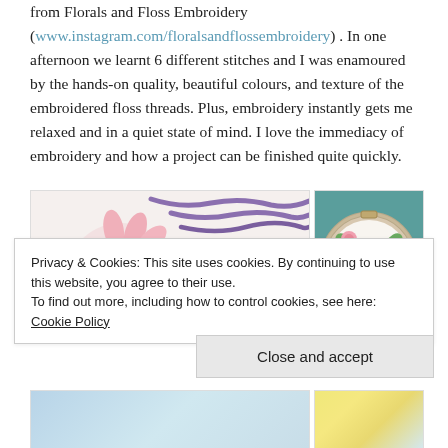from Florals and Floss Embroidery (www.instagram.com/floralsandflossembroidery). In one afternoon we learnt 6 different stitches and I was enamoured by the hands-on quality, beautiful colours, and texture of the embroidered floss threads. Plus, embroidery instantly gets me relaxed and in a quiet state of mind. I love the immediacy of embroidery and how a project can be finished quite quickly.
[Figure (photo): Two embroidery photos side by side: left shows pink flower and yellow rose embroidery on white fabric with purple stitching; right shows an embroidery hoop with floral design and the name 'Leighton'.]
Privacy & Cookies: This site uses cookies. By continuing to use this website, you agree to their use.
To find out more, including how to control cookies, see here: Cookie Policy
Close and accept
[Figure (photo): Bottom portion of two more embroidery photos partially visible.]